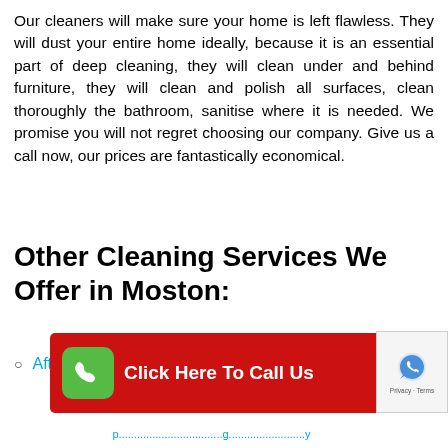Our cleaners will make sure your home is left flawless. They will dust your entire home ideally, because it is an essential part of deep cleaning, they will clean under and behind furniture, they will clean and polish all surfaces, clean thoroughly the bathroom, sanitise where it is needed. We promise you will not regret choosing our company. Give us a call now, our prices are fantastically economical.
Other Cleaning Services We Offer in Moston:
After Builders Cleaning Moston M40
[Figure (infographic): Red call-to-action button with green phone icon and text 'Click Here To Call Us', with reCAPTCHA widget on the right]
partial link text at bottom (cut off)